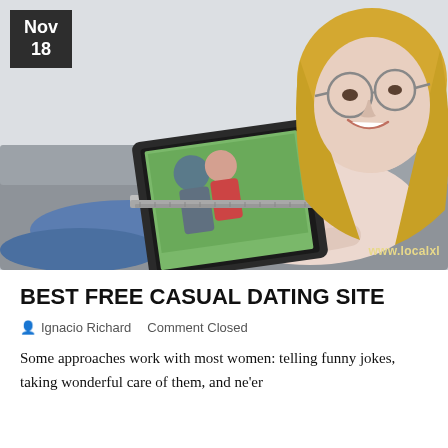[Figure (photo): A smiling blonde woman wearing glasses and a light pink long-sleeve top, lying on a grey couch using a laptop. The laptop screen shows a couple posing outdoors. A watermark reads www.localxl in the bottom right corner. A dark date badge with Nov 18 is in the top left corner.]
BEST FREE CASUAL DATING SITE
👤 Ignacio Richard   Comment Closed
Some approaches work with most women: telling funny jokes, taking wonderful care of them, and ne'er